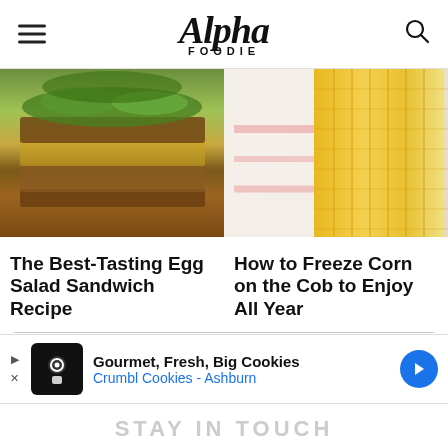Alpha Foodie
[Figure (photo): Egg salad sandwich with greens on whole grain bread, stacked on a wooden board]
[Figure (photo): Close-up of corn on the cob held by a person wearing white clothing with pink pattern]
The Best-Tasting Egg Salad Sandwich Recipe
How to Freeze Corn on the Cob to Enjoy All Year
[Figure (other): Advertisement: Gourmet, Fresh, Big Cookies - Crumbl Cookies - Ashburn]
STAY IN TOUCH